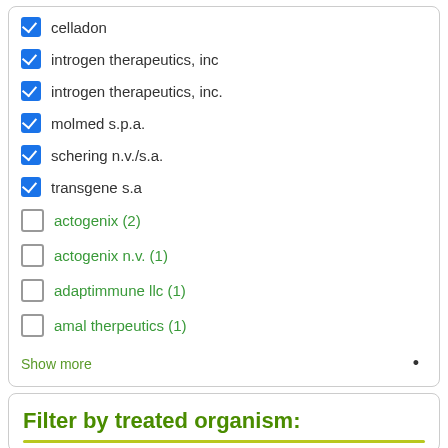✓ celladon
✓ introgen therapeutics, inc
✓ introgen therapeutics, inc.
✓ molmed s.p.a.
✓ schering n.v./s.a.
✓ transgene s.a
☐ actogenix (2)
☐ actogenix n.v. (1)
☐ adaptimmune llc (1)
☐ amal therpeutics (1)
Show more
Filter by treated organism: